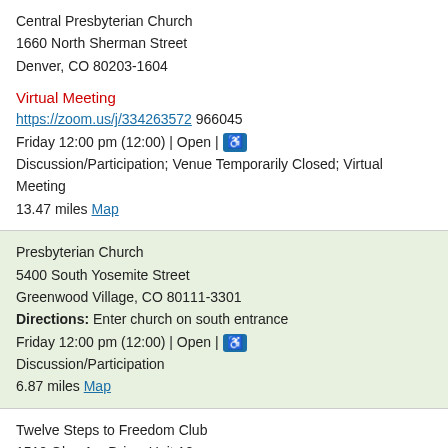Central Presbyterian Church
1660 North Sherman Street
Denver, CO 80203-1604
Virtual Meeting
https://zoom.us/j/334263572 966045
Friday 12:00 pm (12:00) | Open | [wheelchair accessible]
Discussion/Participation; Venue Temporarily Closed; Virtual Meeting
13.47 miles Map
Presbyterian Church
5400 South Yosemite Street
Greenwood Village, CO 80111-3301
Directions: Enter church on south entrance
Friday 12:00 pm (12:00) | Open | [wheelchair accessible]
Discussion/Participation
6.87 miles Map
Twelve Steps to Freedom Club
1510 Glen Ayr Drive, Unit 12
Lakewood, CO 80215-3051
Friday 5:30 pm (17:30) | Open
Discussion/Participation
14.82 miles Map